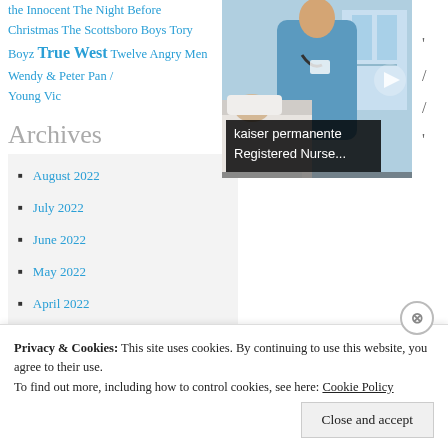the Innocent The Night Before Christmas The Scottsboro Boys Tory Boyz True West Twelve Angry Men Wendy & Peter Pan / Young Vic
[Figure (photo): A nurse in blue scrubs with a stethoscope tending to a patient in a hospital bed. Overlay text reads 'kaiser permanente Registered Nurse...']
Archives
August 2022
July 2022
June 2022
May 2022
April 2022
Privacy & Cookies: This site uses cookies. By continuing to use this website, you agree to their use. To find out more, including how to control cookies, see here: Cookie Policy
Close and accept